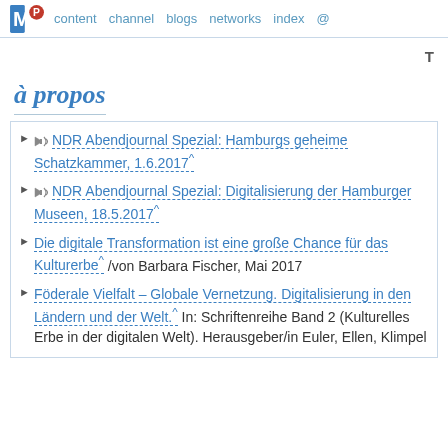content channel blogs networks index @
à propos
NDR Abendjournal Spezial: Hamburgs geheime Schatzkammer, 1.6.2017^
NDR Abendjournal Spezial: Digitalisierung der Hamburger Museen, 18.5.2017^
Die digitale Transformation ist eine große Chance für das Kulturerbe^ /von Barbara Fischer, Mai 2017
Föderale Vielfalt – Globale Vernetzung. Digitalisierung in den Ländern und der Welt.^ In: Schriftenreihe Band 2 (Kulturelles Erbe in der digitalen Welt). Herausgeber/in Euler, Ellen, Klimpel